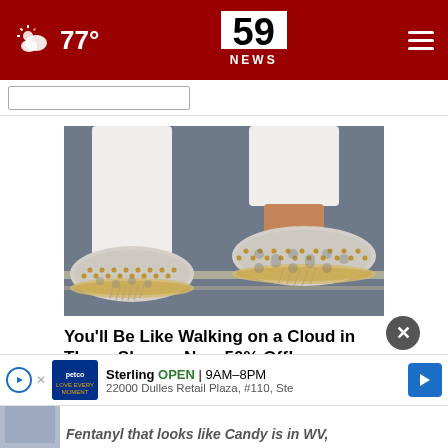59 NEWS — 77° weather header
[Figure (photo): Close-up photo of woman's feet wearing decorative slip-on shoes with studded pattern and fringe detail on a pavement surface]
You'll Be Like Walking on a Cloud in These Shoes - Now 50% Off!
Ad by Sursell
MORE
[Figure (other): Petco advertisement banner: Sterling OPEN | 9AM-8PM, 22000 Dulles Retail Plaza, #110, Ste]
Fentanyl that looks like Candy is in WV,